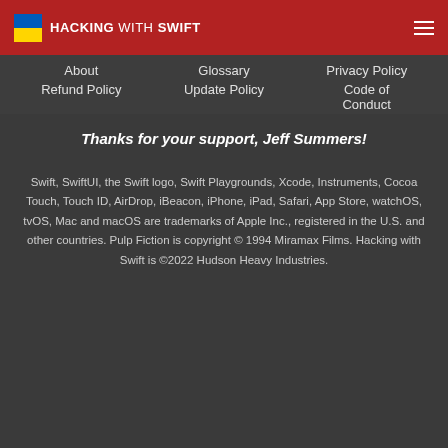HACKING WITH SWIFT
About
Glossary
Privacy Policy
Refund Policy
Update Policy
Code of Conduct
Thanks for your support, Jeff Summers!
Swift, SwiftUI, the Swift logo, Swift Playgrounds, Xcode, Instruments, Cocoa Touch, Touch ID, AirDrop, iBeacon, iPhone, iPad, Safari, App Store, watchOS, tvOS, Mac and macOS are trademarks of Apple Inc., registered in the U.S. and other countries. Pulp Fiction is copyright © 1994 Miramax Films. Hacking with Swift is ©2022 Hudson Heavy Industries.